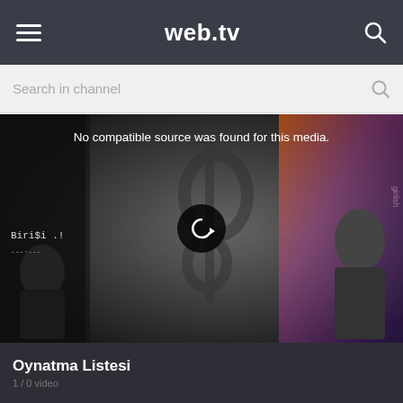web.tv
Search in channel
[Figure (screenshot): Video player showing music-themed background with treble clef, artist images on left (Biri$i .!) and right (blonde female artist), with error message 'No compatible source was found for this media.' and a replay button in the center.]
Oynatma Listesi
1 / 0 video